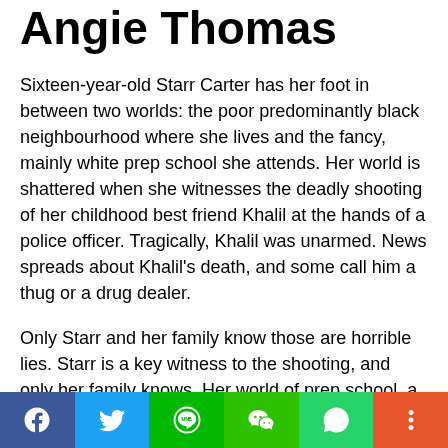Angie Thomas
Sixteen-year-old Starr Carter has her foot in between two worlds: the poor predominantly black neighbourhood where she lives and the fancy, mainly white prep school she attends. Her world is shattered when she witnesses the deadly shooting of her childhood best friend Khalil at the hands of a police officer. Tragically, Khalil was unarmed. News spreads about Khalil's death, and some call him a thug or a drug dealer.
Only Starr and her family know those are horrible lies. Starr is a key witness to the shooting, and only her family knows. Her world of prep school, a star athlete boyfriend, and rich best friends are unaware of her involvement. The pain and anger eat at Starr day by day, keeping the secret of what happened that night. Until enough is enough, it is time to take action.
Social sharing bar: Facebook, Twitter, LINE, WeChat, WhatsApp, More